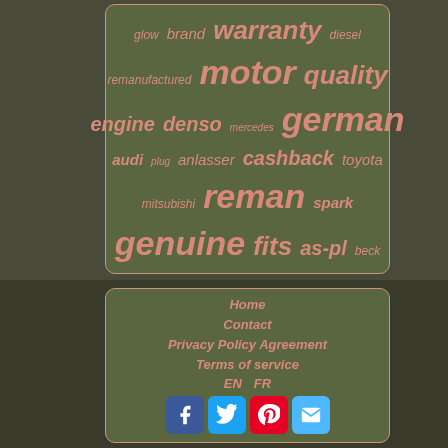[Figure (infographic): Word cloud on olive/dark green background showing automotive/parts related keywords in salmon/pink italic text of varying sizes: glow, brand, warranty, diesel, remanufactured, motor, quality, engine, denso, mercedes, german, audi, plug, anlasser, cashback, toyota, mitsubishi, reman, spark, genuine, fits, as-pl, beck]
Home
Contact
Privacy Policy Agreement
Terms of service
EN   FR